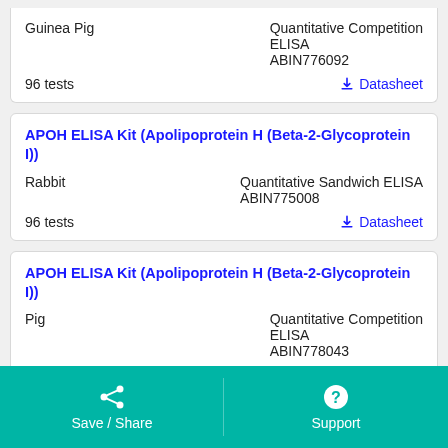Guinea Pig | Quantitative Competition ELISA | ABIN776092 | 96 tests | Datasheet
APOH ELISA Kit (Apolipoprotein H (Beta-2-Glycoprotein I))
Rabbit | Quantitative Sandwich ELISA | ABIN775008 | 96 tests | Datasheet
APOH ELISA Kit (Apolipoprotein H (Beta-2-Glycoprotein I))
Pig | Quantitative Competition ELISA | ABIN778043 | 96 tests | Datasheet
Save / Share   Support